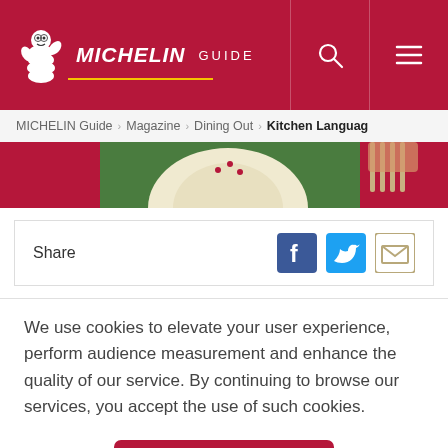MICHELIN GUIDE
MICHELIN Guide > Magazine > Dining Out > Kitchen Language
[Figure (illustration): Partial hero illustration showing a plate with food on a green background with a pink/red backdrop, hands visible at right]
Share
We use cookies to elevate your user experience, perform audience measurement and enhance the quality of our service. By continuing to browse our services, you accept the use of such cookies.
Accept